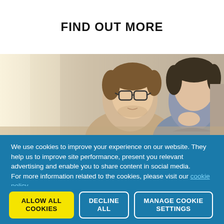FIND OUT MORE
[Figure (photo): Two young men looking at something together, one wearing glasses, both appearing to study or work collaboratively]
We use cookies to improve your experience on our website. They help us to improve site performance, present you relevant advertising and enable you to share content in social media.
For more information related to the cookies, please visit our cookie policy.
ALLOW ALL COOKIES
DECLINE ALL
MANAGE COOKIE SETTINGS